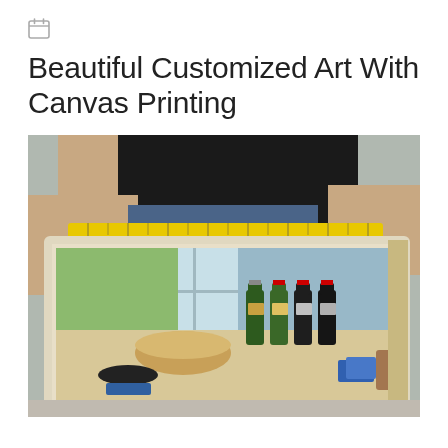[Figure (other): Calendar/date icon (small grey calendar symbol)]
Beautiful Customized Art With Canvas Printing
[Figure (photo): A person measuring a large canvas print of a still-life painting featuring wine bottles, a pie, and other items on a table, using a yellow tape measure. The print is labeled 'Wine 18x24-75' at the bottom.]